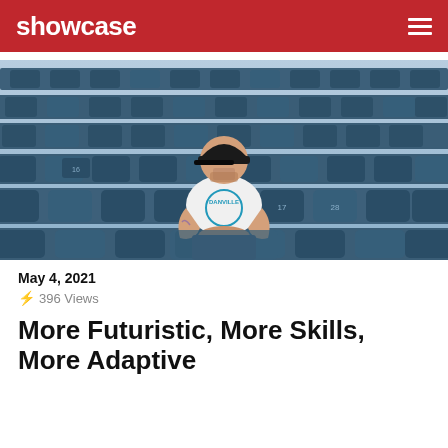showcase
[Figure (photo): Man in white t-shirt and black cap sitting in stadium seats (blue chairs), looking at camera, with tattooed forearms resting on knees.]
May 4, 2021
⚡ 396 Views
More Futuristic, More Skills, More Adaptive